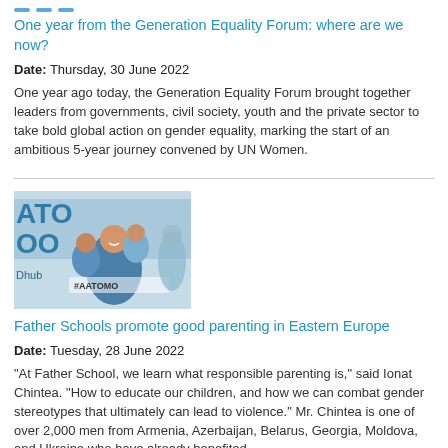One year from the Generation Equality Forum: where are we now?
Date: Thursday, 30 June 2022
One year ago today, the Generation Equality Forum brought together leaders from governments, civil society, youth and the private sector to take bold global action on gender equality, marking the start of an ambitious 5-year journey convened by UN Women.
[Figure (photo): A man smiling and holding two young children, with text/banner in background reading partial text including 'ATO', 'OO', 'Dhub', '#AATOMO']
Father Schools promote good parenting in Eastern Europe
Date: Tuesday, 28 June 2022
"At Father School, we learn what responsible parenting is," said Ionat Chintea. "How to educate our children, and how we can combat gender stereotypes that ultimately can lead to violence." Mr. Chintea is one of over 2,000 men from Armenia, Azerbaijan, Belarus, Georgia, Moldova, and Ukraine who have already benefited